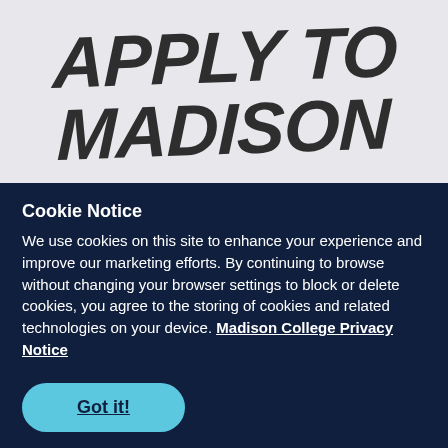Apply to Madison
Cookie Notice
We use cookies on this site to enhance your experience and improve our marketing efforts. By continuing to browse without changing your browser settings to block or delete cookies, you agree to the storing of cookies and related technologies on your device. Madison College Privacy Notice
Got it!